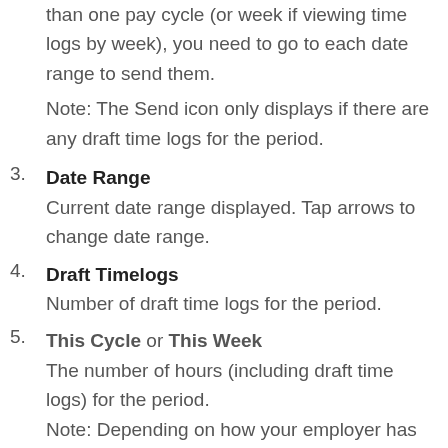than one pay cycle (or week if viewing time logs by week), you need to go to each date range to send them.
Note: The Send icon only displays if there are any draft time logs for the period.
3. Date Range
Current date range displayed. Tap arrows to change date range.
4. Draft Timelogs
Number of draft time logs for the period.
5. This Cycle or This Week
The number of hours (including draft time logs) for the period.
Note: Depending on how your employer has configured Timelogs, you will either see 'This Cycle' (your pay cycle), or 'This Week' (Monday